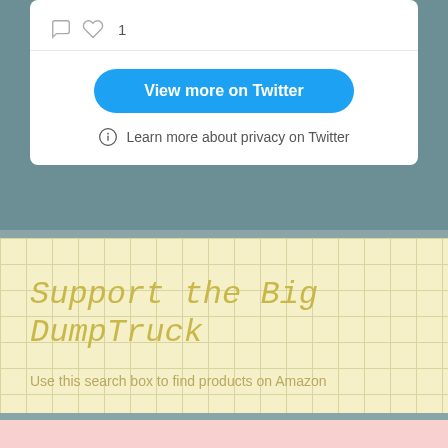[Figure (screenshot): Twitter embed widget showing icons row with reply and heart (1), a 'View more on Twitter' blue button, and a 'Learn more about privacy on Twitter' link with info icon]
View more on Twitter
Learn more about privacy on Twitter
Support the Big DumpTruck
Use this search box to find products on Amazon